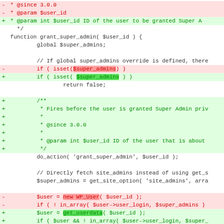[Figure (screenshot): Code diff showing PHP function grant_super_admin with deletions (red) and additions (green), including changes to isset check, added JSDoc comment block, and changes from new WP_User to get_userdata.]